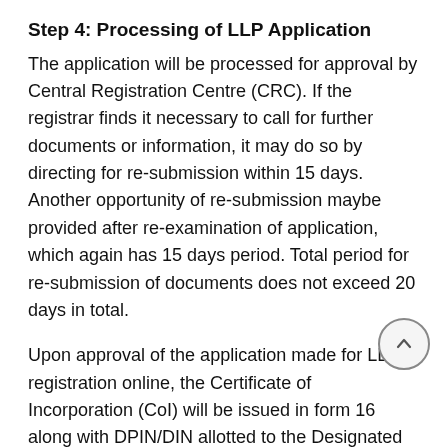Step 4: Processing of LLP Application
The application will be processed for approval by Central Registration Centre (CRC). If the registrar finds it necessary to call for further documents or information, it may do so by directing for re-submission within 15 days. Another opportunity of re-submission maybe provided after re-examination of application, which again has 15 days period. Total period for re-submission of documents does not exceed 20 days in total.
Upon approval of the application made for LLP registration online, the Certificate of Incorporation (CoI) will be issued in form 16 along with DPIN/DIN allotted to the Designated Partners. CoI will also consist of the Limited Liability Partnership Identification Number (LLPIN). The date of CoI will be the date of LLP incorporation since when it has come into legal existence. The business can now be commenced in